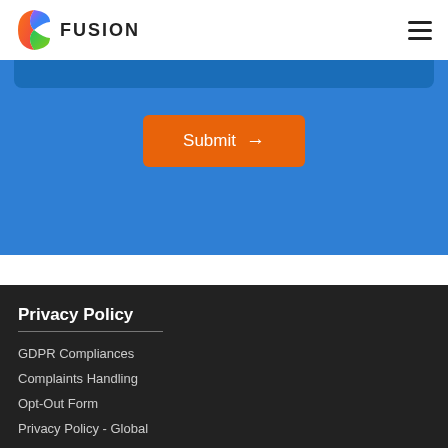FUSION
[Figure (screenshot): Blue form section with a dark blue input bar at top and an orange Submit button with arrow in the center]
Privacy Policy
GDPR Compliances
Complaints Handling
Opt-Out Form
Privacy Policy - Global